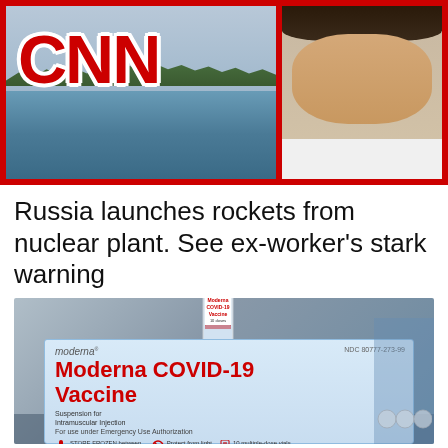[Figure (screenshot): CNN news webpage screenshot showing two images: left image shows CNN logo over a lake/water scene, right image shows a person's face. Below is a headline about Russia launching rockets from a nuclear plant. Below the headline is a photo of a Moderna COVID-19 Vaccine box with a vial on top.]
Russia launches rockets from nuclear plant. See ex-worker’s stark warning